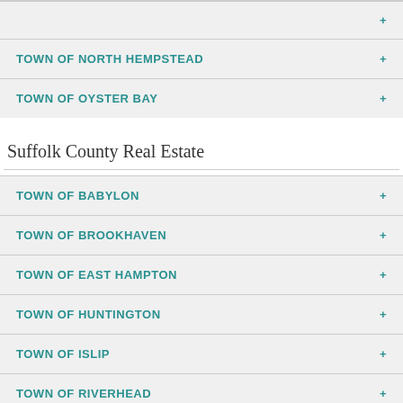TOWN OF NORTH HEMPSTEAD
TOWN OF OYSTER BAY
Suffolk County Real Estate
TOWN OF BABYLON
TOWN OF BROOKHAVEN
TOWN OF EAST HAMPTON
TOWN OF HUNTINGTON
TOWN OF ISLIP
TOWN OF RIVERHEAD